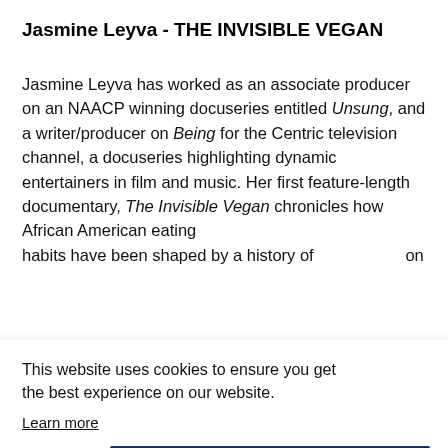Jasmine Leyva - THE INVISIBLE VEGAN
Jasmine Leyva has worked as an associate producer on an NAACP winning docuseries entitled Unsung, and a writer/producer on Being for the Centric television channel, a docuseries highlighting dynamic entertainers in film and music. Her first feature-length documentary, The Invisible Vegan chronicles how African American eating habits have been shaped by a history of...on
This website uses cookies to ensure you get the best experience on our website.
Learn more
Got it!
...n instructor, Joaqui Mickelson uprooted his life to make his first feature film, The Invisible Vegan...